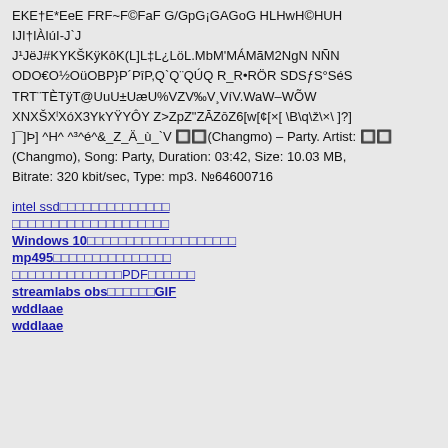EKE†E*EeE FRF~F©FaF G/GpG¡GAGoG HLHwH©HUH IJI†IÀIúI-J`J J¹JëJ#KYKŠKÿKôK(L]L‡L¿LöL.MbM'MÁMãM2NgN NÑN ODO€O½OüOBP}P´PîP,Q`Q¨QÚQ R_R•RÖR SDSƒS°SéS TRT¨TÈTÿT@UuU±UæU%VZV‰V¸VíV.WaW–WÕW XNXŠXˡXóX3YkYŸYÔY Z>ZpZ¨ZĀZōZ6[w[¢[×[ \B\q\ž\×\ ]?] ]¯]Þ] ^H^ ^³^é^&_Z_Ä_ù_`V 🔲🔲(Changmo) – Party. Artist: 🔲🔲 (Changmo), Song: Party, Duration: 03:42, Size: 10.03 MB, Bitrate: 320 kbit/sec, Type: mp3. №64600716
intel ssd🔲🔲🔲🔲🔲🔲🔲🔲🔲🔲🔲🔲🔲🔲
🔲🔲🔲🔲🔲🔲🔲🔲🔲🔲🔲🔲🔲🔲🔲🔲🔲🔲🔲🔲
Windows 10🔲🔲🔲🔲🔲🔲🔲🔲🔲🔲🔲🔲🔲🔲🔲🔲🔲🔲🔲
mp495🔲🔲🔲🔲🔲🔲🔲🔲🔲🔲🔲🔲🔲🔲🔲
🔲🔲🔲🔲🔲🔲🔲🔲🔲🔲🔲🔲🔲🔲PDF🔲🔲🔲🔲🔲🔲
streamlabs obs🔲🔲🔲🔲🔲🔲GIF
wddlaae
wddlaae